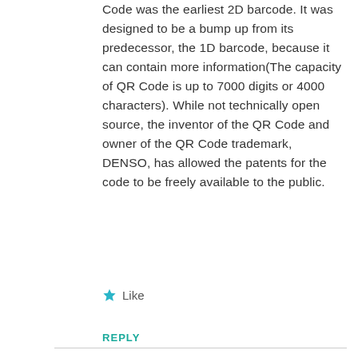Code was the earliest 2D barcode. It was designed to be a bump up from its predecessor, the 1D barcode, because it can contain more information(The capacity of QR Code is up to 7000 digits or 4000 characters). While not technically open source, the inventor of the QR Code and owner of the QR Code trademark, DENSO, has allowed the patents for the code to be freely available to the public.
★ Like
REPLY